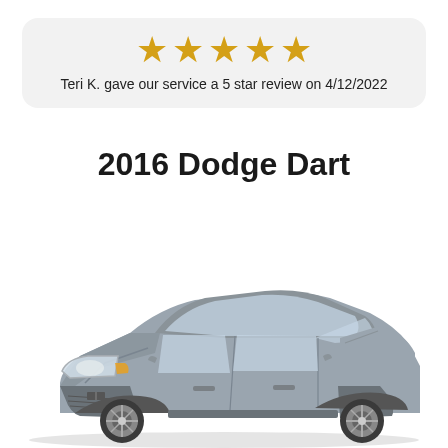[Figure (other): Five gold stars rating widget in a light gray rounded card]
Teri K. gave our service a 5 star review on 4/12/2022
2016 Dodge Dart
[Figure (photo): Photo of a silver/gray 2016 Dodge Dart sedan, three-quarter front view]